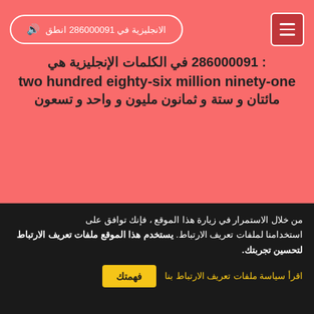انطق 286000091 في الانجليزية
286000091 في الكلمات الإنجليزية هي: two hundred eighty-six million ninety-one مائتان و ستة و ثمانون مليون و واحد و تسعون
من خلال الاستمرار في زيارة هذا الموقع ، فإنك توافق على استخدامنا لملفات تعريف الارتباط. يستخدم هذا الموقع ملفات تعريف الارتباط لتحسين تجربتك.
اقرأ سياسة ملفات تعريف الارتباط بنا
فهمتك